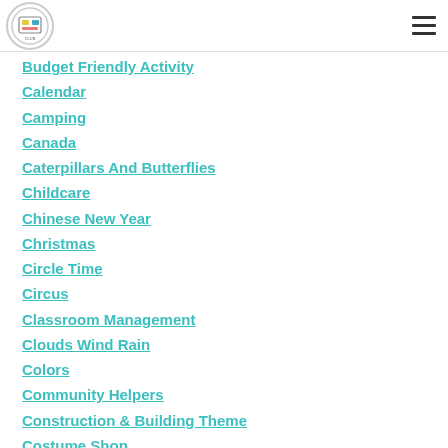[Logo] [Hamburger menu]
Budget Friendly Activity
Calendar
Camping
Canada
Caterpillars And Butterflies
Childcare
Chinese New Year
Christmas
Circle Time
Circus
Classroom Management
Clouds Wind Rain
Colors
Community Helpers
Construction & Building Theme
Costume Shop